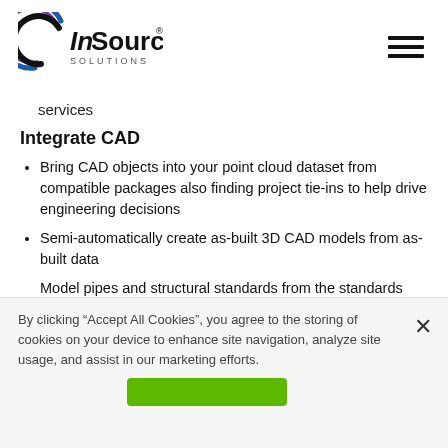[Figure (logo): InSource Solutions logo with stylized C/arc graphic and company name]
services
Integrate CAD
Bring CAD objects into your point cloud dataset from compatible packages also finding project tie-ins to help drive engineering decisions
Semi-automatically create as-built 3D CAD models from as-built data
Model pipes and structural standards from the standards
By clicking “Accept All Cookies”, you agree to the storing of cookies on your device to enhance site navigation, analyze site usage, and assist in our marketing efforts.